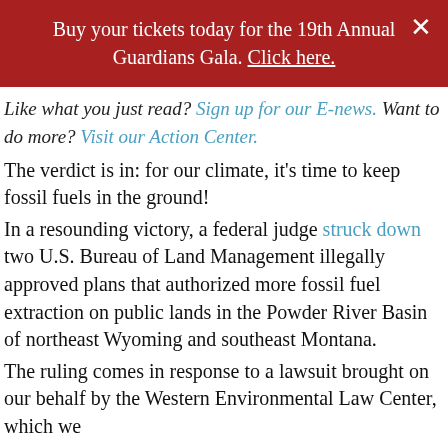Buy your tickets today for the 19th Annual Guardians Gala. Click here.
Like what you just read? Sign up for our E-news. Want to do more? Visit our Action Center.
The verdict is in: for our climate, it's time to keep fossil fuels in the ground!
In a resounding victory, a federal judge struck down two U.S. Bureau of Land Management illegally approved plans that authorized more fossil fuel extraction on public lands in the Powder River Basin of northeast Wyoming and southeast Montana.
The ruling comes in response to a lawsuit brought on our behalf by the Western Environmental Law Center, which we